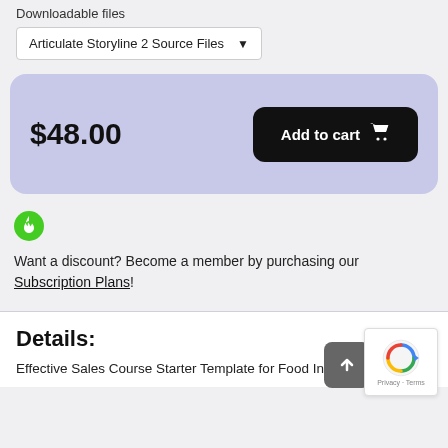Downloadable files
Articulate Storyline 2 Source Files ▾
$48.00
Add to cart 🛒
Want a discount? Become a member by purchasing our Subscription Plans!
Details:
Effective Sales Course Starter Template for Food Industry —